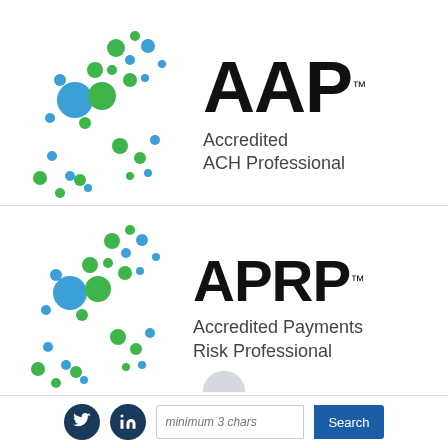[Figure (logo): AAP – Accredited ACH Professional logo with dot pattern in green and blue]
[Figure (logo): APRP – Accredited Payments Risk Professional logo with dot pattern in green and blue]
[Figure (logo): Partial circular logo at bottom center (partially visible)]
Twitter icon | LinkedIn icon | minimum 3 chars [Search]